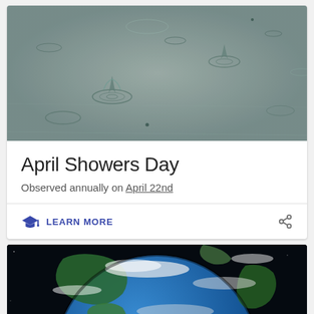[Figure (photo): Black and white close-up photo of rain drops hitting a water surface, showing ripples and splashing droplets]
April Showers Day
Observed annually on April 22nd
LEARN MORE
[Figure (photo): Photo of Earth from space showing North and South America with blue oceans, green landmasses, and white clouds against black space background]